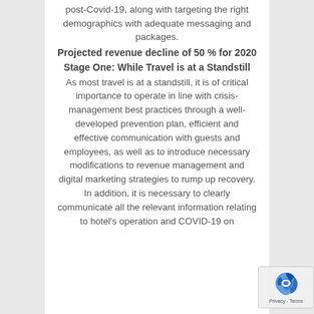post-Covid-19, along with targeting the right demographics with adequate messaging and packages.
Projected revenue decline of 50 % for 2020
Stage One: While Travel is at a Standstill
As most travel is at a standstill, it is of critical importance to operate in line with crisis-management best practices through a well-developed prevention plan, efficient and effective communication with guests and employees, as well as to introduce necessary modifications to revenue management and digital marketing strategies to rump up recovery. In addition, it is necessary to clearly communicate all the relevant information relating to hotel's operation and COVID-19 on